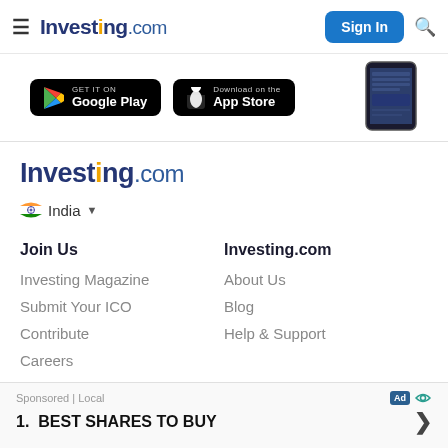Investing.com — Sign In
[Figure (screenshot): App store download buttons for Google Play and App Store with phone mockup]
Investing.com
India (country selector)
Join Us
Investing.com
Investing Magazine
About Us
Submit Your ICO
Blog
Contribute
Help & Support
Careers
Advertise
Sponsored | Local — 1. BEST SHARES TO BUY